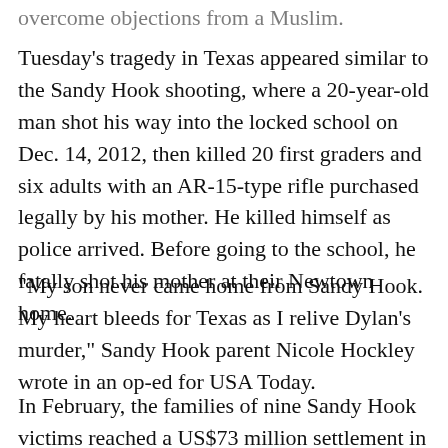overcome objections from a Muslim.
Tuesday's tragedy in Texas appeared similar to the Sandy Hook shooting, where a 20-year-old man shot his way into the locked school on Dec. 14, 2012, then killed 20 first graders and six adults with an AR-15-type rifle purchased legally by his mother. He killed himself as police arrived. Before going to the school, he fatally shot his mother at their Newtown home.
"My son never came home from Sandy Hook. My heart bleeds for Texas as I relive Dylan's murder," Sandy Hook parent Nicole Hockley wrote in an op-ed for USA Today.
In February, the families of nine Sandy Hook victims reached a US$73 million settlement in a lawsuit against the maker of the rifle used in the